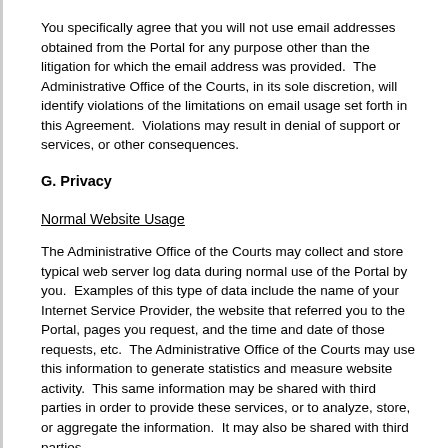You specifically agree that you will not use email addresses obtained from the Portal for any purpose other than the litigation for which the email address was provided.  The Administrative Office of the Courts, in its sole discretion, will identify violations of the limitations on email usage set forth in this Agreement.  Violations may result in denial of support or services, or other consequences.
G. Privacy
Normal Website Usage
The Administrative Office of the Courts may collect and store typical web server log data during normal use of the Portal by you.  Examples of this type of data include the name of your Internet Service Provider, the website that referred you to the Portal, pages you request, and the time and date of those requests, etc.  The Administrative Office of the Courts may use this information to generate statistics and measure website activity.  This same information may be shared with third parties in order to provide these services, or to analyze, store, or aggregate the information.  It may also be shared with third parties